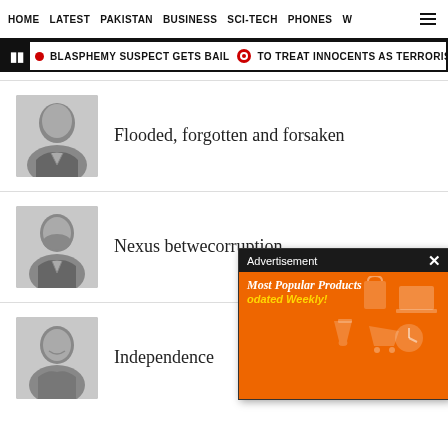HOME | LATEST | PAKISTAN | BUSINESS | SCI-TECH | PHONES | W
BLASPHEMY SUSPECT GETS BAIL   TO TREAT INNOCENTS AS TERRORISTS: GLO
Flooded, forgotten and forsaken
Nexus betwe... corruption
Independence...
[Figure (other): Advertisement overlay: black header bar reading 'Advertisement' with X close button. Orange body with text 'Most Popular Products' and 'odated Weekly!' with illustrated product icons (laptop, shopping bag, chemistry beaker, shopping cart, clock).]